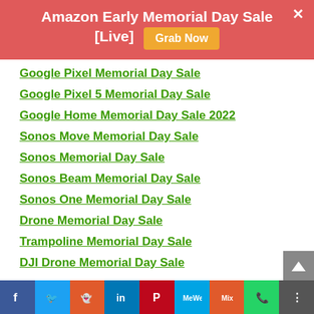Amazon Early Memorial Day Sale [Live] Grab Now
Google Pixel Memorial Day Sale
Google Pixel 5 Memorial Day Sale
Google Home Memorial Day Sale 2022
Sonos Move Memorial Day Sale
Sonos Memorial Day Sale
Sonos Beam Memorial Day Sale
Sonos One Memorial Day Sale
Drone Memorial Day Sale
Trampoline Memorial Day Sale
DJI Drone Memorial Day Sale
Social share bar: Facebook, Twitter, Reddit, LinkedIn, Pinterest, MeWe, Mix, WhatsApp, More